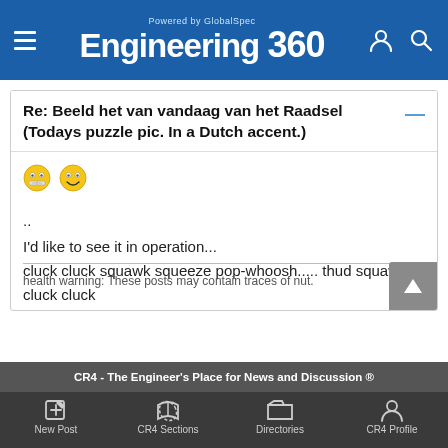Engineering 360 – Powered by GlobalSpec
Re: Beeld het van vandaag van het Raadsel (Todays puzzle pic. In a Dutch accent.)
[Figure (illustration): Two yellow smiley face emoji icons]
..
I'd like to see it in operation...
cluck cluck squawk squeeze pop-whoosh..... thud squawk cluck cluck
Del
health warning: These posts may contain traces of nut.
CR4 - The Engineer's Place for News and Discussion ®
New Post   CR4 Sections   Directories   CR4 Profile